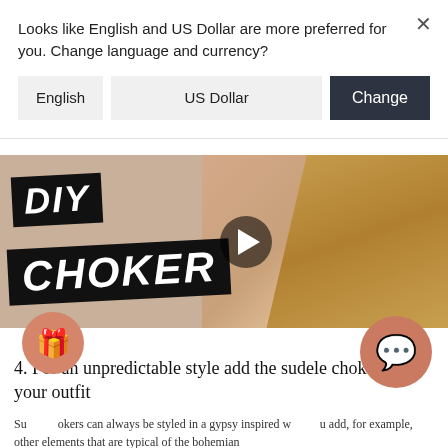Looks like English and US Dollar are more preferred for you. Change language and currency?
English
US Dollar
Change
[Figure (screenshot): DIY Choker video thumbnail showing a person with blonde hair; black banner overlays with white bold text reading 'DIY' and 'CHOKER'; dark play button in center-right area]
4. For an unpredictable style add the suede choker to your outfit
Suede chokers can always be styled in a gypsy inspired way. You add, for example, other elements that are typical of the bohemian